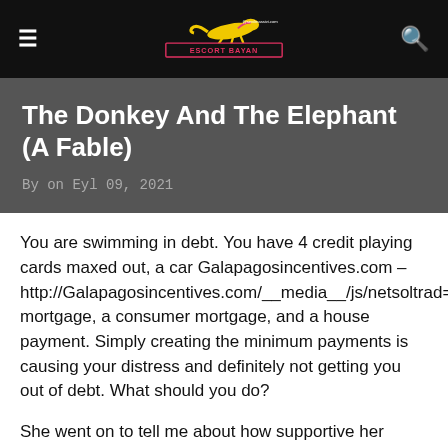ESCORT BAYAN @sevilmassivi.com
The Donkey And The Elephant (A Fable)
By on Eyl 09, 2021
You are swimming in debt. You have 4 credit playing cards maxed out, a car Galapagosincentives.com – http://Galapagosincentives.com/__media__/js/netsoltrad d=Dishnetworkmail.info%2F__media__%2Fjs%2Fnetsoltrac mortgage, a consumer mortgage, and a house payment. Simply creating the minimum payments is causing your distress and definitely not getting you out of debt. What should you do?
She went on to tell me about how supportive her